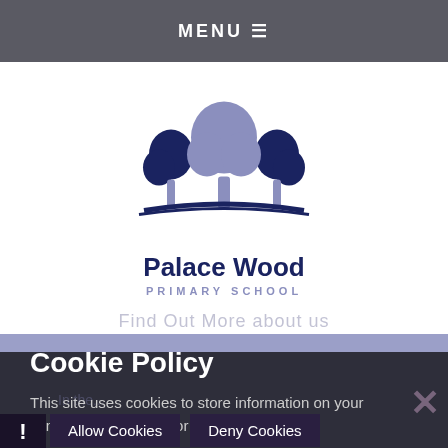MENU ☰
[Figure (logo): Palace Wood Primary School logo with three stylized trees in navy and grey-blue, with a curved ground line, above the school name]
Palace Wood
PRIMARY SCHOOL
Cookie Policy
This site uses cookies to store information on your computer. Click here for more information
Allow Cookies
Deny Cookies